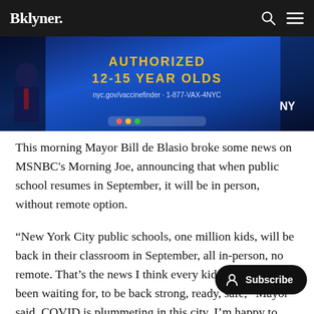Bklyner.
[Figure (photo): Screenshot of an MSNBC Morning Joe broadcast showing text 'AUTHORIZED 12-15 YEAR OLDS' in yellow on blue background, with nyc.gov/vaccinefinder and 1-877-VAX-4NYC, NY logo, and a figure of a man in a suit visible on left side.]
This morning Mayor Bill de Blasio broke some news on MSNBC's Morning Joe, announcing that when public school resumes in September, it will be in person, without remote option.
“New York City public schools, one million kids, will be back in their classroom in September, all in-person, no remote. That’s the news I think every kids, everyone’s been waiting for, to be back strong, ready, safe,” Mayor said. COVID is plummeting in this city. I’m happy to say. We’re almost